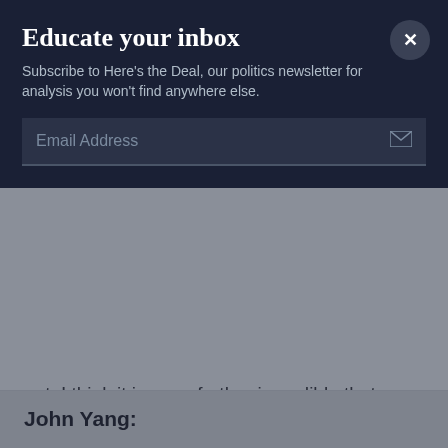Educate your inbox
Subscribe to Here's the Deal, our politics newsletter for analysis you won't find anywhere else.
out, I think it is even further incredible that tonight and possibly on Sunday he will be going for that calendar Grand Slam. It's really, really historic.
And he's written his own legacy, irrespective of what happens tonight.
John Yang: